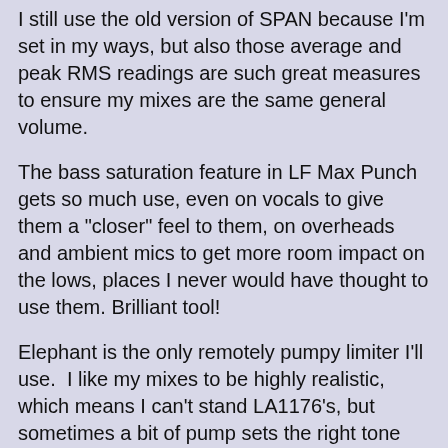I still use the old version of SPAN because I'm set in my ways, but also those average and peak RMS readings are such great measures to ensure my mixes are the same general volume.
The bass saturation feature in LF Max Punch gets so much use, even on vocals to give them a "closer" feel to them, on overheads and ambient mics to get more room impact on the lows, places I never would have thought to use them. Brilliant tool!
Elephant is the only remotely pumpy limiter I'll use.  I like my mixes to be highly realistic, which means I can't stand LA1176's, but sometimes a bit of pump sets the right tone without sounding desperate.  Elephant nails that every time.
Here's some pearls for folks who don't appreciate how awesome a phase adjustment tool PHA-979 is.  Any recording that's live or live off the floor with ambient mics, you can use PHA-979 to phase-align direct mics to the ambient mics by adjusting the phase so the lower frequencies combine the most (might actually be nice to have a mono version just for this).  Then put a PHA-979 on